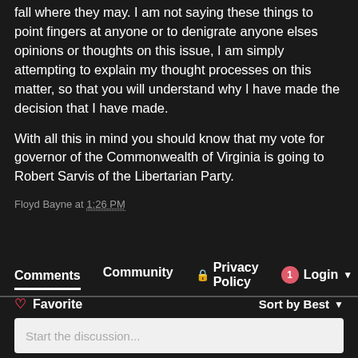fall where they may. I am not saying these things to point fingers at anyone or to denigrate anyone elses opinions or thoughts on this issue, I am simply attempting to explain my thought processes on this matter, so that you will understand why I have made the decision that I have made.
With all this in mind you should know that my vote for governor of the Commonwealth of Virginia is going to Robert Sarvis of the Libertarian Party.
Floyd Bayne at 1:26 PM
Share
Comments   Community   Privacy Policy   1   Login   Favorite   Sort by Best   Start the discussion...   LOG IN WITH